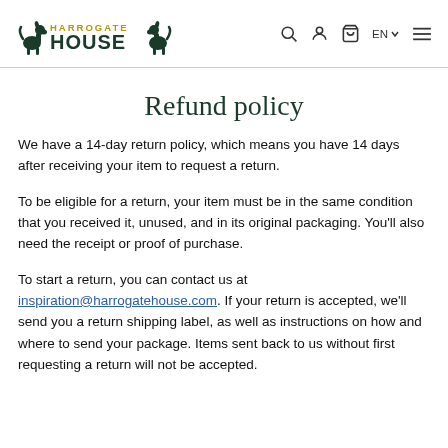Harrogate House [logo] — navigation icons: search, account, cart, EN language selector, hamburger menu
Refund policy
We have a 14-day return policy, which means you have 14 days after receiving your item to request a return.
To be eligible for a return, your item must be in the same condition that you received it, unused, and in its original packaging. You'll also need the receipt or proof of purchase.
To start a return, you can contact us at inspiration@harrogatehouse.com. If your return is accepted, we'll send you a return shipping label, as well as instructions on how and where to send your package. Items sent back to us without first requesting a return will not be accepted.